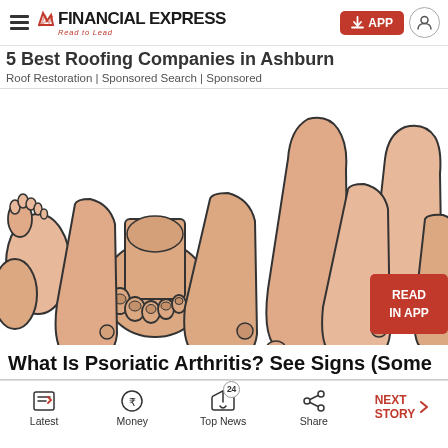Financial Express - Read to Lead
5 Best Roofing Companies in Ashburn
Roof Restoration | Sponsored Search | Sponsored
[Figure (illustration): Multiple illustrated views of human feet and ankles from different angles, showing various orientations including top, side, and bottom views. Medical illustration style with skin-tone coloring and bold outlines.]
What Is Psoriatic Arthritis? See Signs (Some
Latest | Money | Top News 24 | Share | NEXT STORY